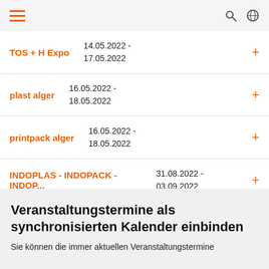Navigation bar with hamburger menu, search and globe icons
TOS + H Expo | 14.05.2022 - 17.05.2022
plast alger | 16.05.2022 - 18.05.2022
printpack alger | 16.05.2022 - 18.05.2022
INDOPLAS - INDOPACK - INDOP... | 31.08.2022 - 03.09.2022
Veranstaltungstermine als synchronisierten Kalender einbinden
Sie können die immer aktuellen Veranstaltungstermine